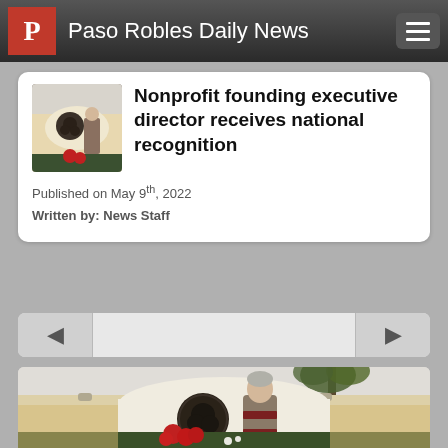Paso Robles Daily News
Nonprofit founding executive director receives national recognition
Published on May 9th, 2022
Written by: News Staff
[Figure (photo): Woman standing in front of a white stucco wall with a decorative bronze rose medallion, surrounded by poinsettias and plants, palm trees visible in background]